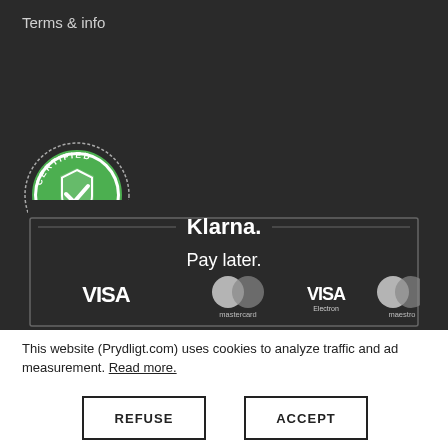Terms & info
[Figure (logo): Certified E-Commerce badge - circular green and white seal with shield checkmark]
[Figure (logo): Klarna Pay later section with VISA, Mastercard, VISA Electron and Maestro payment logos inside a dark bordered box]
This website (Prydligt.com) uses cookies to analyze traffic and ad measurement. Read more.
REFUSE
ACCEPT